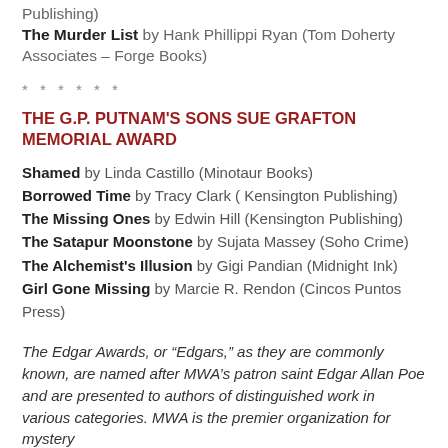Publishing)
The Murder List by Hank Phillippi Ryan (Tom Doherty Associates – Forge Books)
* * * * * *
THE G.P. PUTNAM'S SONS SUE GRAFTON MEMORIAL AWARD
Shamed by Linda Castillo (Minotaur Books)
Borrowed Time by Tracy Clark ( Kensington Publishing)
The Missing Ones by Edwin Hill (Kensington Publishing)
The Satapur Moonstone by Sujata Massey (Soho Crime)
The Alchemist's Illusion by Gigi Pandian (Midnight Ink)
Girl Gone Missing by Marcie R. Rendon (Cincos Puntos Press)
The Edgar Awards, or “Edgars,” as they are commonly known, are named after MWA’s patron saint Edgar Allan Poe and are presented to authors of distinguished work in various categories. MWA is the premier organization for mystery